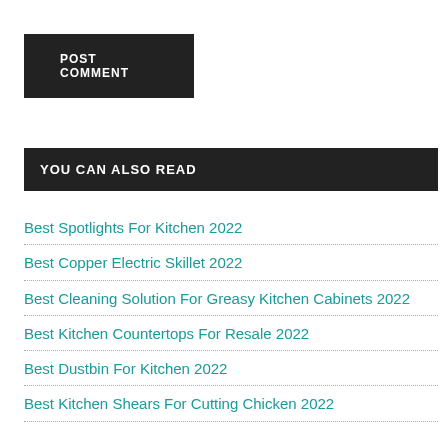POST COMMENT
YOU CAN ALSO READ
Best Spotlights For Kitchen 2022
Best Copper Electric Skillet 2022
Best Cleaning Solution For Greasy Kitchen Cabinets 2022
Best Kitchen Countertops For Resale 2022
Best Dustbin For Kitchen 2022
Best Kitchen Shears For Cutting Chicken 2022